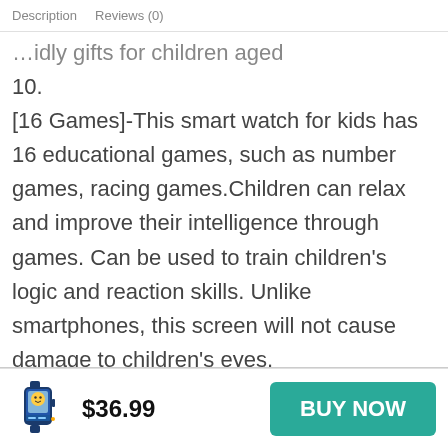Description   Reviews (0)
10.
[16 Games]-This smart watch for kids has 16 educational games, such as number games, racing games.Children can relax and improve their intelligence through games. Can be used to train children's logic and reaction skills. Unlike smartphones, this screen will not cause damage to children's eyes.
[Pedometer Function]-This kids smart watch can count the number of steps and burned calories when worn, and encourage children to exercise more. It will help your children develop active and
$36.99
BUY NOW